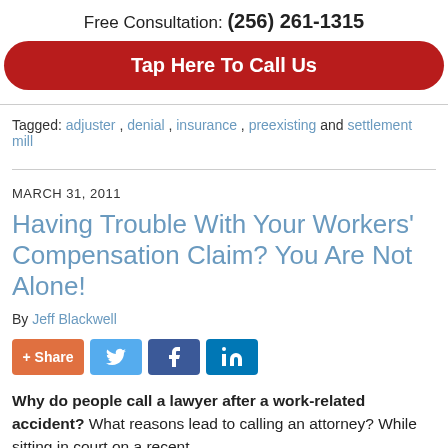Free Consultation: (256) 261-1315
[Figure (other): Red rounded button with white bold text: Tap Here To Call Us]
Tagged: adjuster , denial , insurance , preexisting and settlement mill
MARCH 31, 2011
Having Trouble With Your Workers’ Compensation Claim? You Are Not Alone!
By Jeff Blackwell
[Figure (other): Share buttons: + Share (orange), Twitter bird icon (blue), Facebook f icon (dark blue), LinkedIn in icon (blue)]
Why do people call a lawyer after a work-related accident? What reasons lead to calling an attorney? While sitting in court on a recent